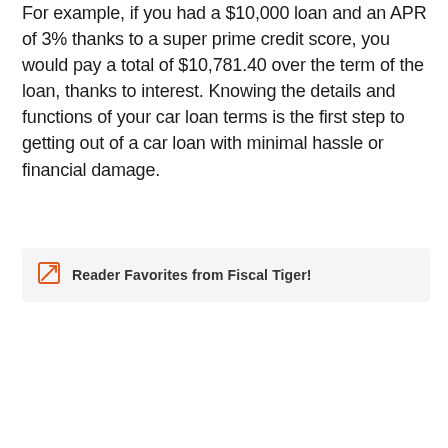For example, if you had a $10,000 loan and an APR of 3% thanks to a super prime credit score, you would pay a total of $10,781.40 over the term of the loan, thanks to interest. Knowing the details and functions of your car loan terms is the first step to getting out of a car loan with minimal hassle or financial damage.
Reader Favorites from Fiscal Tiger!